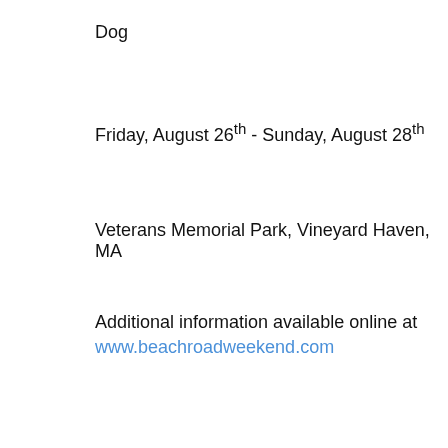Dog
Friday, August 26th - Sunday, August 28th
Veterans Memorial Park, Vineyard Haven, MA
Additional information available online at www.beachroadweekend.com